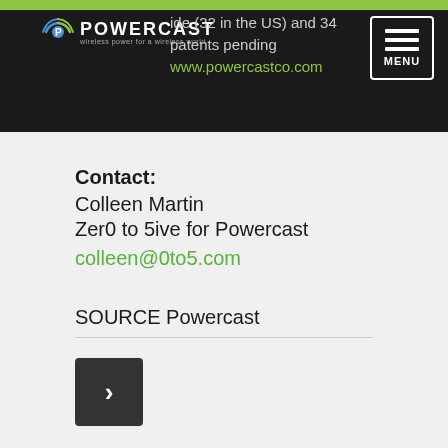ide (32 in the US) and 34 patents pending www.powercastco.com
Contact:
Colleen Martin
Zer0 to 5ive for Powercast
colleen@0to5.com
SOURCE Powercast